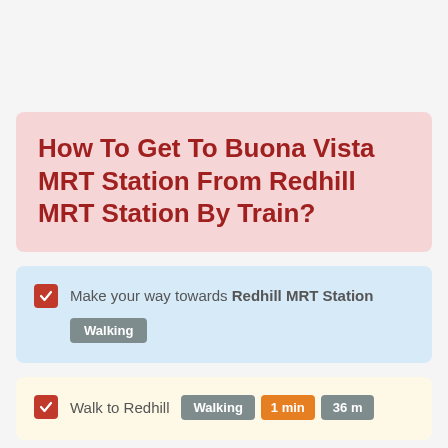How To Get To Buona Vista MRT Station From Redhill MRT Station By Train?
Make your way towards Redhill MRT Station — Walking
Walk to Redhill — Walking — 1 min — 36 m